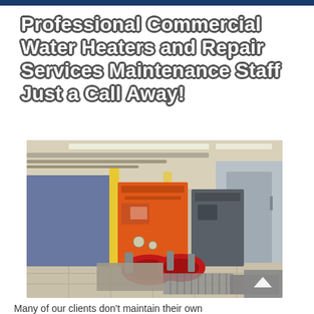Professional Commercial Water Heaters and Repair Services Maintenance Staff Just a Call Away!
[Figure (photo): Interior of a commercial boiler/water heater room showing large orange and gray industrial boilers with red pump assemblies, yellow support columns, pipes, gauges, and a gray door in background. Wide-angle view with fluorescent lighting and tiled floor.]
Many of our clients don't maintain their own